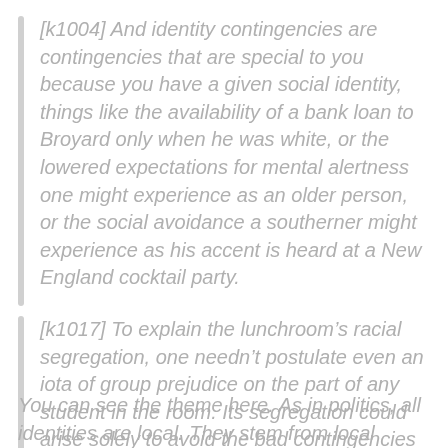[k1004] And identity contingencies are contingencies that are special to you because you have a given social identity, things like the availability of a bank loan to Broyard only when he was white, or the lowered expectations for mental alertness one might experience as an older person, or the social avoidance a southerner might experience as his accent is heard at a New England cocktail party.
[k1017] To explain the lunchroom's racial segregation, one needn't postulate even an iota of group prejudice on the part of any student in the room. Its segregation could arise solely to avoid the bad contingencies of these two group identities in that place.
You can see the theme here. As in politics, all identities are local. They stem from local particulars, local